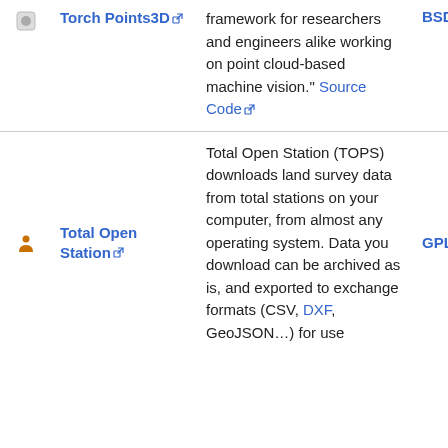| Icon | Name | Description | License |
| --- | --- | --- | --- |
| [icon] | Torch Points3D | framework for researchers and engineers alike working on point cloud-based machine vision." Source Code | BSD |
| [icon] | Total Open Station | Total Open Station (TOPS) downloads land survey data from total stations on your computer, from almost any operating system. Data you download can be archived as is, and exported to exchange formats (CSV, DXF, GeoJSON…) for use | GPL-3.0 |